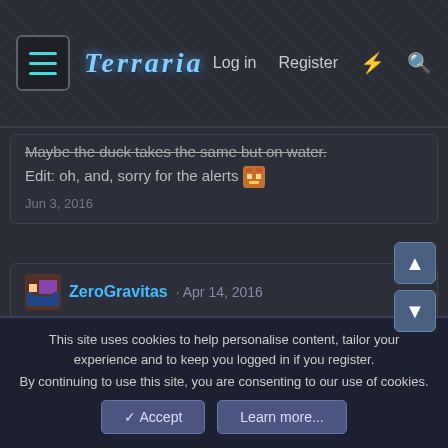Terraria | Log in | Register
Maybe the duck takes the same but on water.
Edit: oh, and, sorry for the alerts
Jun 3, 2016
ZeroGravitas · Apr 14, 2016
Hey, how's it going?
👍 Zapton and groundhog05
Dukey · Mar 25, 2016
Do you have your maps to download?
This site uses cookies to help personalise content, tailor your experience and to keep you logged in if you register. By continuing to use this site, you are consenting to our use of cookies.
✓ Accept | Learn more...